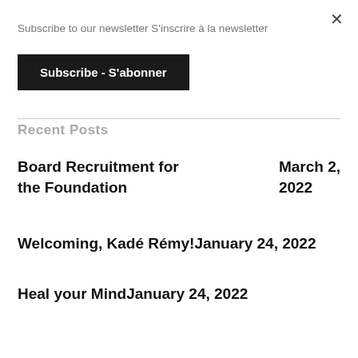Subscribe to our newsletter S'inscrire à la newsletter
Subscribe - S'abonner
Recent Posts
Board Recruitment for the Foundation   March 2, 2022
Welcoming, Kadé Rémy!January 24, 2022
Heal your MindJanuary 24, 2022